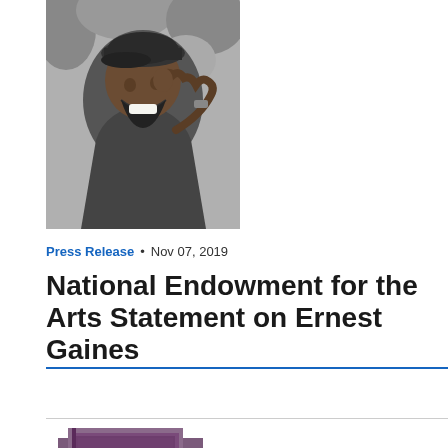[Figure (photo): Black and white photograph of Ernest Gaines, a man smiling broadly and laughing outdoors, wearing a cap and coat, with trees in the background.]
Press Release • Nov 07, 2019
National Endowment for the Arts Statement on Ernest Gaines
[Figure (photo): Partial view of a purple/maroon colored book or object, partially cropped at the bottom of the page.]